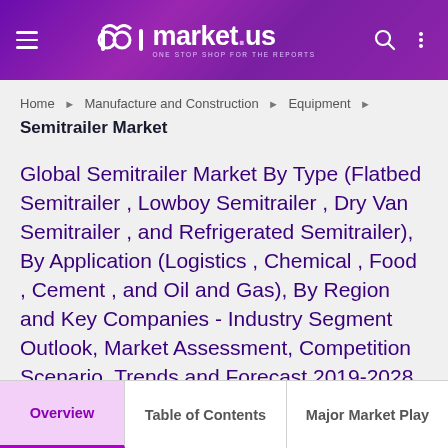market.us — ONE STOP SHOP FOR THE REPORTS
Home > Manufacture and Construction > Equipment >
Semitrailer Market
Global Semitrailer Market By Type (Flatbed Semitrailer , Lowboy Semitrailer , Dry Van Semitrailer , and Refrigerated Semitrailer), By Application (Logistics , Chemical , Food , Cement , and Oil and Gas), By Region and Key Companies - Industry Segment Outlook, Market Assessment, Competition Scenario, Trends and Forecast 2019-2028
Overview | Table of Contents | Major Market Play